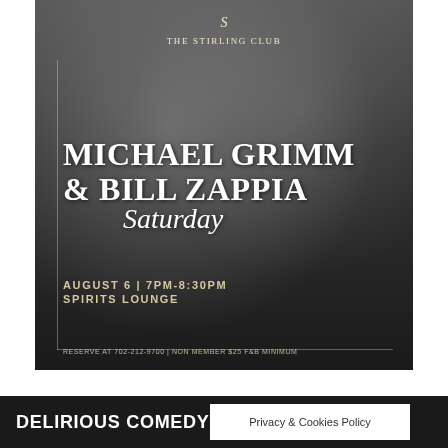[Figure (photo): Black and white photo of two musicians, one in foreground with guitar and hat/sunglasses, one in background at keyboard, at The Stirling Club]
THE STIRLING CLUB
MICHAEL GRIMM & BILL ZAPPIA Saturday
AUGUST 6 | 7PM-8:30PM
SPIRITS LOUNGE
RESERVE AT 702-212-9700 | NON MEMBER $25 F&B MINIMUM
DELIRIOUS COMEDY
Privacy & Cookies Policy